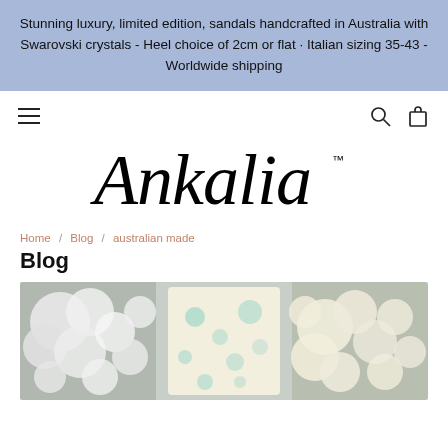Stunning luxury, limited edition, sandals handcrafted in Australia with Swarovski crystals - Heel choice of 2cm or flat · Italian sizing 35-43 - Worldwide shipping
[Figure (logo): Ankalia brand logo in italic script with trademark symbol]
Home / Blog / australian made
Blog
[Figure (photo): Blog image showing white flowers on the left and right, and a floral patterned fabric item in the center, on a grey background]